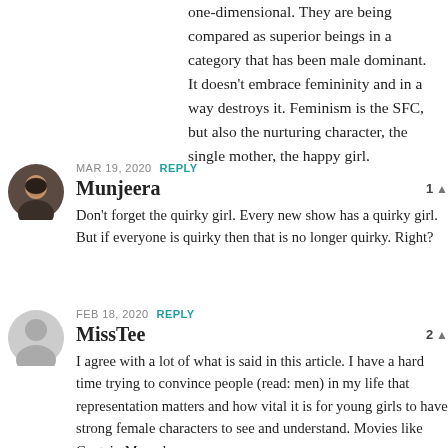one-dimensional. They are being compared as superior beings in a category that has been male dominant. It doesn't embrace femininity and in a way destroys it. Feminism is the SFC, but also the nurturing character, the single mother, the happy girl.
MAR 19, 2020 REPLY
Munjeera
Don't forget the quirky girl. Every new show has a quirky girl. But if everyone is quirky then that is no longer quirky. Right?
FEB 18, 2020 REPLY
MissTee
I agree with a lot of what is said in this article. I have a hard time trying to convince people (read: men) in my life that representation matters and how vital it is for young girls to have strong female characters to see and understand. Movies like Captain Marvel